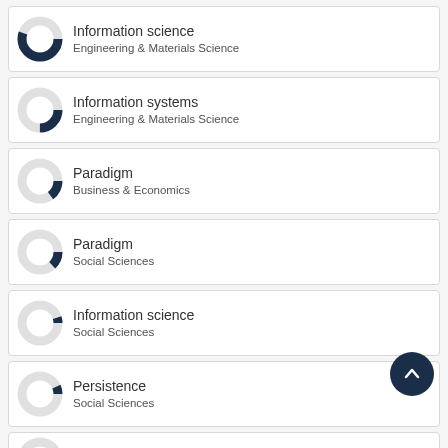[Figure (donut-chart): Small donut chart with dark navy fill, mostly filled, representing Information science - Engineering & Materials Science]
Information science
Engineering & Materials Science
[Figure (donut-chart): Small donut chart with dark navy fill, about half filled, representing Information systems - Engineering & Materials Science]
Information systems
Engineering & Materials Science
[Figure (donut-chart): Small donut chart with dark navy fill, about 40% filled, representing Paradigm - Business & Economics]
Paradigm
Business & Economics
[Figure (donut-chart): Small donut chart with dark navy fill, about 40% filled, representing Paradigm - Social Sciences]
Paradigm
Social Sciences
[Figure (donut-chart): Small donut chart with dark navy fill, small portion filled, representing Information science - Social Sciences]
Information science
Social Sciences
[Figure (donut-chart): Small donut chart with dark navy fill, small portion filled, representing Persistence - Social Sciences]
Persistence
Social Sciences
[Figure (donut-chart): Small donut chart with dark navy fill, small portion filled, representing Information system]
Information system